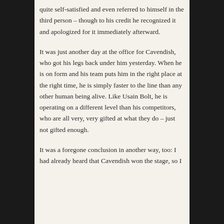quite self-satisfied and even referred to himself in the third person – though to his credit he recognized it and apologized for it immediately afterward.
It was just another day at the office for Cavendish, who got his legs back under him yesterday. When he is on form and his team puts him in the right place at the right time, he is simply faster to the line than any other human being alive. Like Usain Bolt, he is operating on a different level than his competitors, who are all very, very gifted at what they do – just not gifted enough.
It was a foregone conclusion in another way, too: I had already heard that Cavendish won the stage, so I